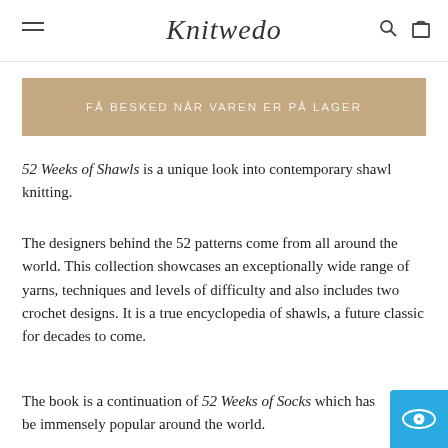Knitwedo
FÅ BESKED NÅR VAREN ER PÅ LAGER
52 Weeks of Shawls is a unique look into contemporary shawl knitting.
The designers behind the 52 patterns come from all around the world. This collection showcases an exceptionally wide range of yarns, techniques and levels of difficulty and also includes two crochet designs. It is a true encyclopedia of shawls, a future classic for decades to come.
The book is a continuation of 52 Weeks of Socks which has been immensely popular around the world.